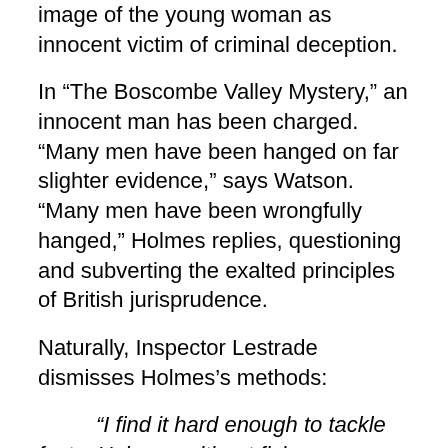image of the young woman as innocent victim of criminal deception.
In “The Boscombe Valley Mystery,” an innocent man has been charged. “Many men have been hanged on far slighter evidence,” says Watson. “Many men have been wrongfully hanged,” Holmes replies, questioning and subverting the exalted principles of British jurisprudence.
Naturally, Inspector Lestrade dismisses Holmes’s methods:
“I find it hard enough to tackle facts, Holmes, without flying away after theories and fancies.”
“You are right,” said Holmes, demurely; “you do find it very hard to tackle the facts.”
Holmes calls Lestrade an “imbecile” later in the story